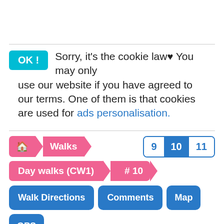OK ! Sorry, it's the cookie law❤ You may only use our website if you have agreed to our terms. One of them is that cookies are used for ads personalisation.
🏠 > Walks | 9 10 11
Day walks (CW1) > # 10
Walk Directions | Comments | Map | GPS
Weather | Photos | Videos | History
⬇ Download Walk (pdf)